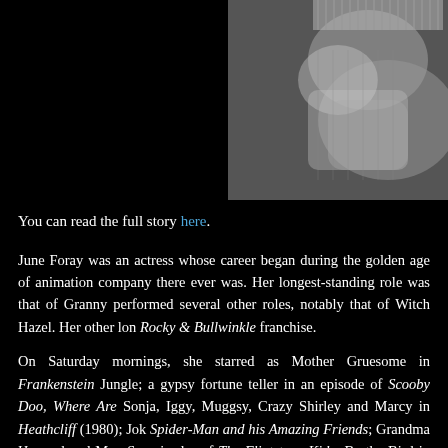[Figure (photo): Black and white photograph showing hands or a person wearing a knitted sweater/mittens, upper right area of page against dark background]
You can read the full story here.
June Foray was an actress whose career began during the golden age of animation company there ever was. Her longest-standing role was that of Granny performed several other roles, notably that of Witch Hazel. Her other lon Rocky & Bullwinkle franchise.
On Saturday mornings, she starred as Mother Gruesome in Frankenstein Jungle; a gypsy fortune teller in an episode of Scooby Doo, Where Are Sonja, Iggy, Muggsy, Crazy Shirley and Marcy in Heathcliff (1980); Jok Spider-Man and his Amazing Friends; Grandma Howard and Mrs. Se episodes of The Flintstone Kids; Bertha Bird in an episode of Denver, the Named Scooby-Doo; Mrs. Rogers, the Mayor's wife, and Mrs. Dweeb in Featherby and Scrooge's mother in DuckTales; Bathsheba, Saturna, Si Weekend Specials; Grammi Gummi and several other roles in Disney's Garfield and Friends, Rha and Scoothe the Sonic Power and Mr.